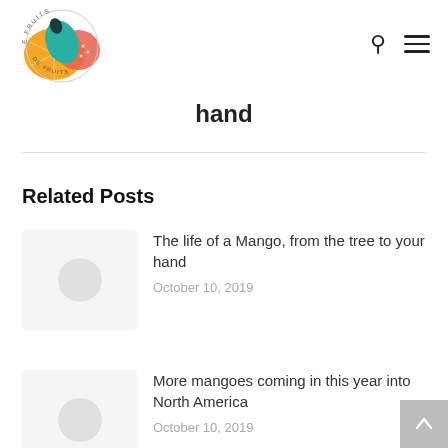Verde Fruits — navigation header with logo, search icon, and menu icon
hand
Related Posts
[Figure (illustration): Thumbnail placeholder with grey circle for post: The life of a Mango, from the tree to your hand]
The life of a Mango, from the tree to your hand
October 10, 2019
[Figure (illustration): Thumbnail placeholder with grey circle for post: More mangoes coming in this year into North America]
More mangoes coming in this year into North America
October 10, 2019